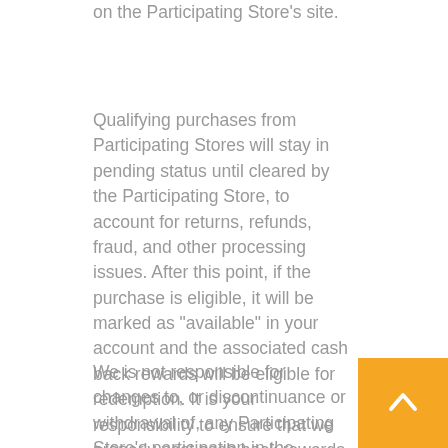on the Participating Store's site.
Qualifying purchases from Participating Stores will stay in pending status until cleared by the Participating Store, to account for returns, refunds, fraud, and other processing issues. After this point, if the purchase is eligible, it will be marked as "available" in your account and the associated cash back rewards will be eligible for redemption. It is your responsibility to ensure that we properly post cash back rewards to your account.
We is not responsible for changes to, or discontinuance or withdrawal of, any Participating Store's participation in the Cashback program, or for any effect on
[Figure (other): Orange/yellow scroll-to-top button with upward-pointing chevron arrow in white]